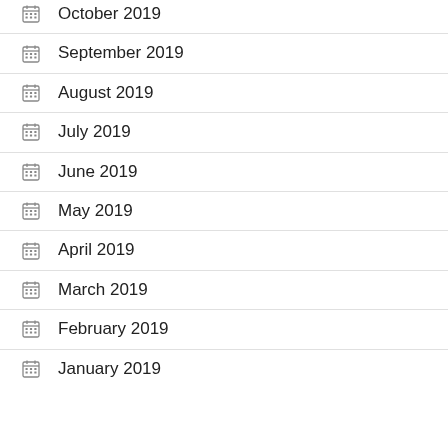October 2019
September 2019
August 2019
July 2019
June 2019
May 2019
April 2019
March 2019
February 2019
January 2019